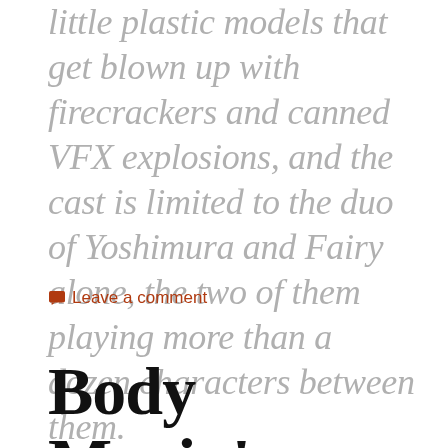little plastic models that get blown up with firecrackers and canned VFX explosions, and the cast is limited to the duo of Yoshimura and Fairy alone, the two of them playing more than a dozen characters between them.
Leave a comment
Body Movin': Google